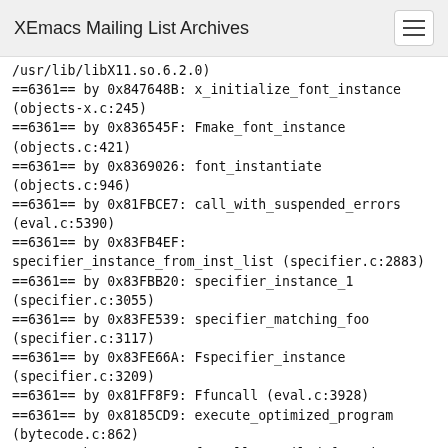XEmacs Mailing List Archives
/usr/lib/libX11.so.6.2.0)
==6361== by 0x847648B: x_initialize_font_instance (objects-x.c:245)
==6361== by 0x836545F: Fmake_font_instance (objects.c:421)
==6361== by 0x8369026: font_instantiate (objects.c:946)
==6361== by 0x81FBCE7: call_with_suspended_errors (eval.c:5390)
==6361== by 0x83FB4EF: specifier_instance_from_inst_list (specifier.c:2883)
==6361== by 0x83FBB20: specifier_instance_1 (specifier.c:3055)
==6361== by 0x83FE539: specifier_matching_foo (specifier.c:3117)
==6361== by 0x83FE66A: Fspecifier_instance (specifier.c:3209)
==6361== by 0x81FF8F9: Ffuncall (eval.c:3928)
==6361== by 0x8185CD9: execute_optimized_program (bytecode.c:862)
==6361== by 0x81FC873: funcall_compiled_function (eval.c:3517)
==6361== by 0x81FF6F7: Ffuncall (eval.c:3967)
==6361== by 0x8185CD9: execute_optimized_program